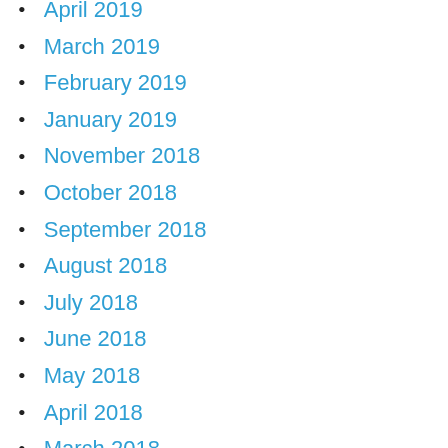April 2019
March 2019
February 2019
January 2019
November 2018
October 2018
September 2018
August 2018
July 2018
June 2018
May 2018
April 2018
March 2018
February 2018
January 2018
December 2017
November 2017